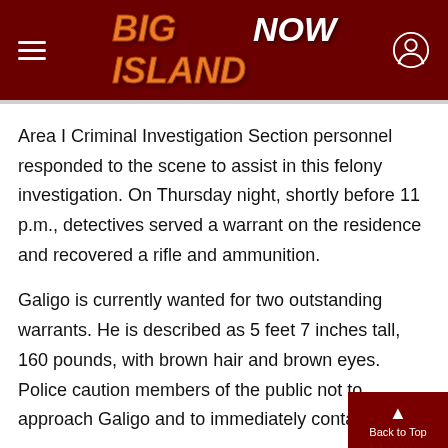BIG ISLAND NOW
Area I Criminal Investigation Section personnel responded to the scene to assist in this felony investigation. On Thursday night, shortly before 11 p.m., detectives served a warrant on the residence and recovered a rifle and ammunition.
Galigo is currently wanted for two outstanding warrants. He is described as 5 feet 7 inches tall, 160 pounds, with brown hair and brown eyes. Police caution members of the public not to approach Galigo and to immediately contact police.
Anyone who may have been in the area and